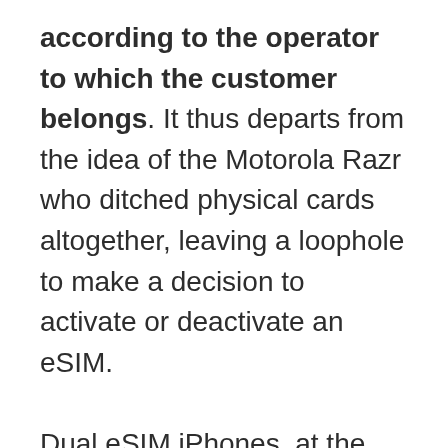according to the operator to which the customer belongs. It thus departs from the idea of the Motorola Razr who ditched physical cards altogether, leaving a loophole to make a decision to activate or deactivate an eSIM.

Dual eSIM iPhones, at the moment, do not offer the possibility of having three active lines at the same time. This is certainly possible, however, there is going to be a higher power consumption on the handset.